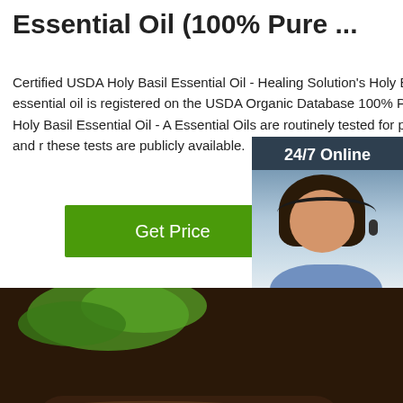Essential Oil (100% Pure ...
Certified USDA Holy Basil Essential Oil - Healing Solution's Holy Basil essential oil is registered on the USDA Organic Database 100% Pure Holy Basil Essential Oil - A Essential Oils are routinely tested for purity and r these tests are publicly available.
Get Price
[Figure (photo): Customer service representative with headset, smiling, with '24/7 Online' header, 'Click here for free chat!' and 'QUOTATION' button]
[Figure (photo): Close-up photo of dark dried holy basil leaves with green basil in background, 'TOP' label in lower right corner]